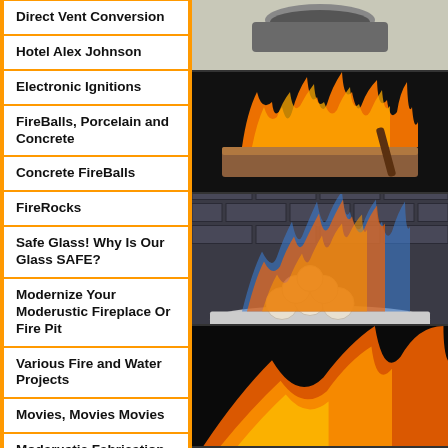Direct Vent Conversion
Hotel Alex Johnson
Electronic Ignitions
FireBalls, Porcelain and Concrete
Concrete FireBalls
FireRocks
Safe Glass! Why Is Our Glass SAFE?
Modernize Your Moderustic Fireplace Or Fire Pit
Various Fire and Water Projects
Movies, Movies Movies
Moderustic Fabrication University
[Figure (photo): Photo of a decorative fire bowl or fireplace insert with flames, top right]
[Figure (photo): Photo of an outdoor fire pit table with large orange flames burning in a copper/metal trough, dark background]
[Figure (photo): Photo of a fireplace with blue and orange flames surrounding white ceramic fire balls on white fire glass, brick interior]
[Figure (photo): Photo of orange flames in a dark fireplace, bottom right, partially visible]